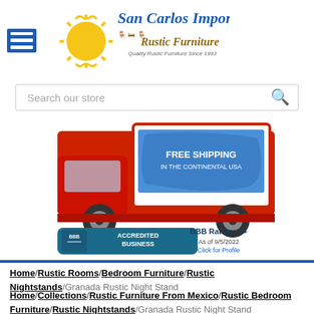[Figure (logo): San Carlos Imports Rustic Furniture logo with sun graphic and menu icon]
[Figure (screenshot): Search bar with text 'Search our store' and magnifying glass icon]
[Figure (illustration): Red delivery truck with 'Free Shipping in the Continental USA' sign showing US map, and BBB Accredited Business A+ Rating badge as of 9/5/2022]
Home / Rustic Rooms / Bedroom Furniture / Rustic Nightstands / Granada Rustic Night Stand
Home / Collections / Rustic Furniture From Mexico / Rustic Bedroom Furniture / Rustic Nightstands / Granada Rustic Night Stand